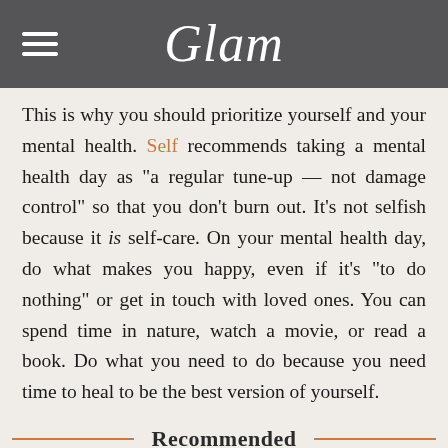Glam
This is why you should prioritize yourself and your mental health. Self recommends taking a mental health day as "a regular tune-up — not damage control" so that you don't burn out. It's not selfish because it is self-care. On your mental health day, do what makes you happy, even if it's "to do nothing" or get in touch with loved ones. You can spend time in nature, watch a movie, or read a book. Do what you need to do because you need time to heal to be the best version of yourself.
Recommended